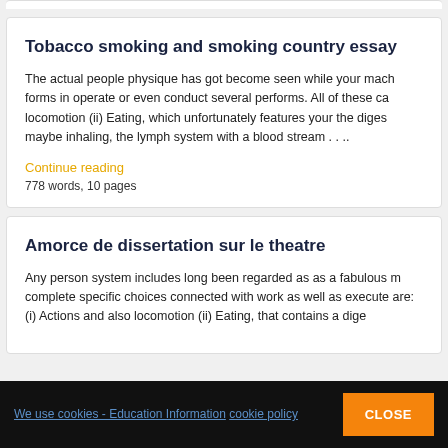Tobacco smoking and smoking country essay
The actual people physique has got become seen while your mach forms in operate or even conduct several performs. All of these ca locomotion (ii) Eating, which unfortunately features your the diges maybe inhaling, the lymph system with a blood stream . . ..
Continue reading
778 words, 10 pages
Amorce de dissertation sur le theatre
Any person system includes long been regarded as as a fabulous m complete specific choices connected with work as well as execute are: (i) Actions and also locomotion (ii) Eating, that contains a dige
We use cookies - Education Information cookie policy CLOSE